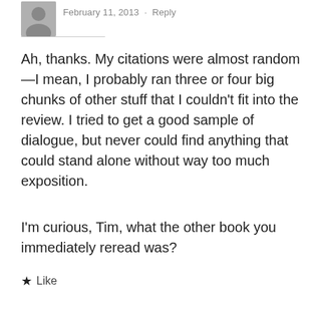February 11, 2013 · Reply
Ah, thanks. My citations were almost random—I mean, I probably ran three or four big chunks of other stuff that I couldn't fit into the review. I tried to get a good sample of dialogue, but never could find anything that could stand alone without way too much exposition.
I'm curious, Tim, what the other book you immediately reread was?
★ Like